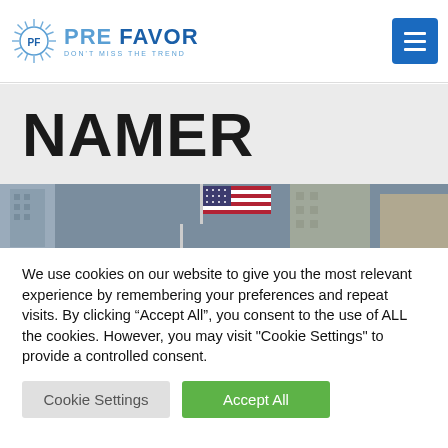PRE FAVOR - Don't Miss The Trend
NAMER
[Figure (photo): Photo of an American flag hanging from a building on a city street]
We use cookies on our website to give you the most relevant experience by remembering your preferences and repeat visits. By clicking “Accept All”, you consent to the use of ALL the cookies. However, you may visit "Cookie Settings" to provide a controlled consent.
Cookie Settings | Accept All